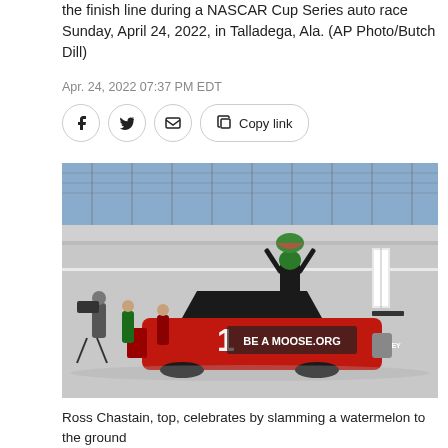the finish line during a NASCAR Cup Series auto race Sunday, April 24, 2022, in Talladega, Ala. (AP Photo/Butch Dill)
Apr. 24, 2022 07:37 PM EDT
[Figure (photo): Ross Chastain standing on top of his red #1 NASCAR race car (sponsored by BeAMoose.org) holding a watermelon trophy above his head at the finish line at Talladega Superspeedway. Camera crew and other people stand nearby on the track. The grandstands with catch fencing are visible in the background.]
Ross Chastain, top, celebrates by slamming a watermelon to the ground